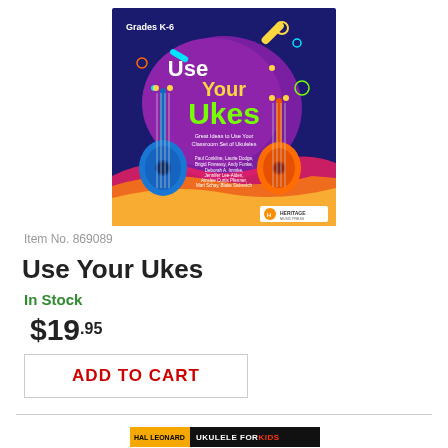[Figure (illustration): Book cover for 'Use Your Ukes' published by Heritage Music Press. Features colorful ukulele illustrations on a dark blue/purple background with the title in large green and yellow letters. Subtitle reads 'Great Ideas to Use Your Classroom Set of Ukuleles'. Authors listed: Paul Conkline, Laurie Dodge, Brigid Finnessy, Andy Funke, Deborah A. Immke, Jennifer Lee-Alden, Ainslee Curtis Pfenner, Mari Schay, Blake Siskevich. Grade level: Grades K-6. Heritage Music Press logo at bottom right.]
Item No. 869089
Use Your Ukes
In Stock
$19.95
ADD TO CART
[Figure (logo): Hal Leonard logo (orange/yellow badge) next to 'UKULELE FOR KIDS' text on black background banner]